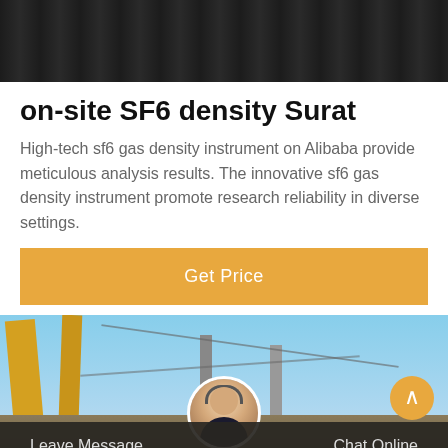[Figure (photo): Dark colored banner image at top of page, appears to be a dark/industrial background]
on-site SF6 density Surat
High-tech sf6 gas density instrument on Alibaba provide meticulous analysis results. The innovative sf6 gas density instrument promote research reliability in diverse settings.
Get Price
[Figure (photo): Construction site with cranes, electrical towers, and overhead wires against a blue sky]
Leave Message
Chat Online